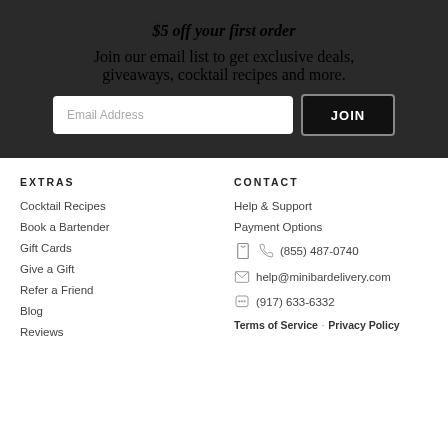$5 off your first order
Join our email list to get exclusive deals, giveaways, cocktail recipes and more.
EXTRAS
CONTACT
Cocktail Recipes
Help & Support
Book a Bartender
Payment Options
Gift Cards
(855) 487-0740
Give a Gift
help@minibardelivery.com
Refer a Friend
(917) 633-6332
Blog
Reviews
Terms of Service · Privacy Policy